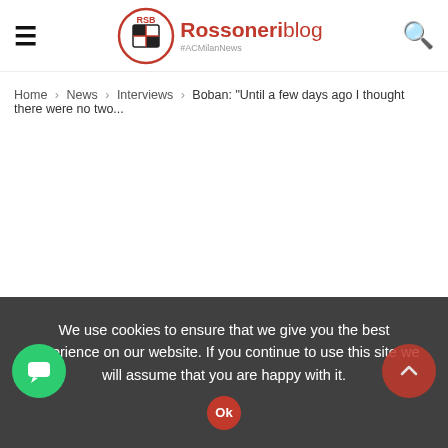Rossoneri blog #ACMilanNews
Home › News › Interviews › Boban: "Until a few days ago I thought there were no two...
We use cookies to ensure that we give you the best experience on our website. If you continue to use this site we will assume that you are happy with it.